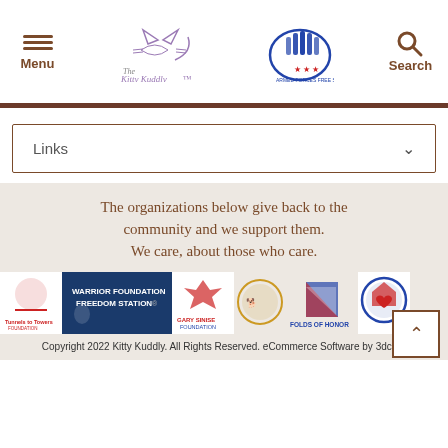Menu | The Kitty Kuddly | [Kitty Kuddly Logo] | [Armed Forces Logo] | Search
Links ∨
The organizations below give back to the community and we support them. We care, about those who care.
[Figure (logo): Row of organization logos: Tunnels to Towers Foundation, Warrior Foundation Freedom Station, Gary Sinise Foundation, [military dog tag logo], Folds of Honor, Fisher House Foundation]
Copyright 2022 Kitty Kuddly. All Rights Reserved. eCommerce Software by 3dcart.